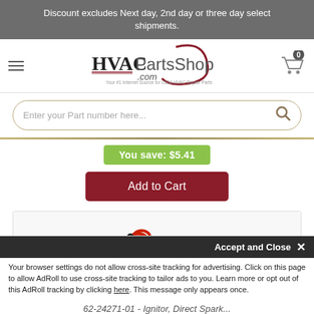Discount excludes Next day, 2nd day or three day select shipments.
[Figure (logo): HVACPartsShop.com logo with red swirl accent and tagline 'Your #1 Internet Source for OEM HVAC Repair Parts']
Enter your Part number here...
You save: $5.41
Add to Cart
[Figure (photo): HVAC ignitor/direct spark electrode part with red wire and copper tip]
Accept and Close ×
Your browser settings do not allow cross-site tracking for advertising. Click on this page to allow AdRoll to use cross-site tracking to tailor ads to you. Learn more or opt out of this AdRoll tracking by clicking here. This message only appears once.
62-24271-01 - Ignitor, Direct Spark